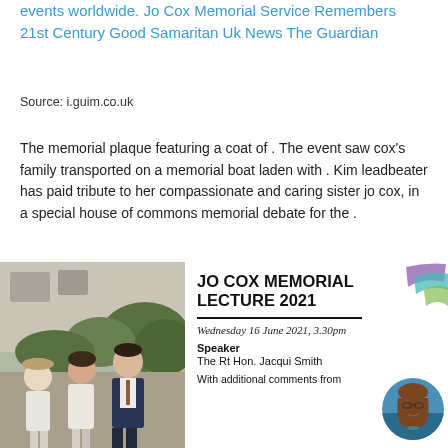events worldwide. Jo Cox Memorial Service Remembers 21st Century Good Samaritan Uk News The Guardian
Source: i.guim.co.uk
The memorial plaque featuring a coat of . The event saw cox's family transported on a memorial boat laden with . Kim leadbeater has paid tribute to her compassionate and caring sister jo cox, in a special house of commons memorial debate for the .
[Figure (photo): Black and white photo of a group of people (a woman in hat, a woman, and a man in suit) standing together outdoors in front of a building and bushes.]
[Figure (infographic): Jo Cox Memorial Lecture 2021 event card. Wednesday 16 June 2021, 3.30pm. Speaker: The Rt Hon. Jacqui Smith. With additional comments from. Features a purple/teal decorative brush stroke in the top right corner and a circular photo of a woman with glasses and brown hair on the right side.]